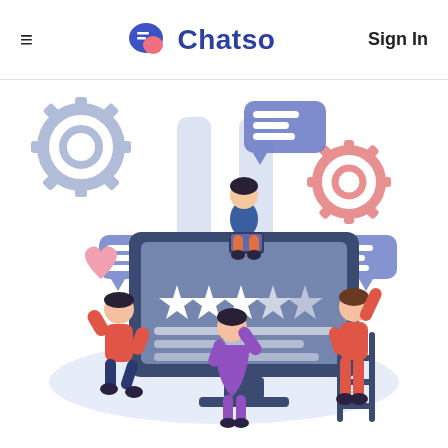≡  Chatso  Sign In
[Figure (illustration): Flat vector illustration showing people interacting with a large computer monitor displaying a 5-star review/rating interface. A woman sits on top of the monitor with a laptop and speech bubble. A man on the left holds a pink heart. A woman in purple dress points up at the screen. A woman on the right stands on a ladder reaching toward a star. Background has gear icons and speech bubble icons in light blue/gray tones.]